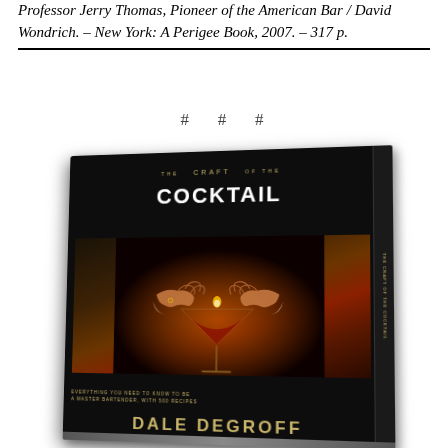Professor Jerry Thomas, Pioneer of the American Bar / David Wondrich. – New York: A Perigee Book, 2007. – 317 p.
# # #
[Figure (photo): Book cover of 'The Craft of the Cocktail' by Dale DeGroff. Dark cover with hands holding a cocktail glass with a red drink, gold title text. Subtitle: 'Everything You Need to Know to Be a Master Bartender, with 500 Recipes'.]